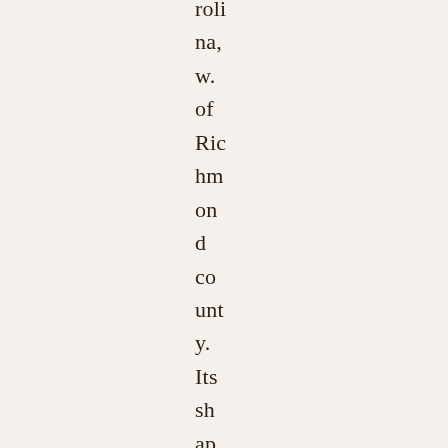rolina, w. of Richmond county. Its shape is very irregular)